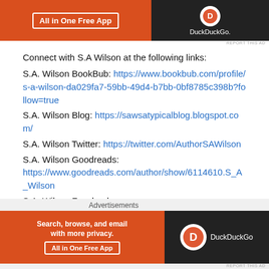[Figure (screenshot): DuckDuckGo advertisement banner at top — orange section with 'All in One Free App' button, dark section with DuckDuckGo logo]
Connect with S.A Wilson at the following links:
S.A. Wilson BookBub: https://www.bookbub.com/profile/s-a-wilson-da029fa7-59bb-49d4-b7bb-0bf8785c398b?follow=true
S.A. Wilson Blog: https://sawsatypicalblog.blogspot.com/
S.A. Wilson Twitter: https://twitter.com/AuthorSAWilson
S.A. Wilson Goodreads: https://www.goodreads.com/author/show/6114610.S_A_Wilson
S.A. Wilson Facebook: https://www.facebook.com/profile.php?
Advertisements
[Figure (screenshot): DuckDuckGo advertisement banner at bottom — 'Search, browse, and email with more privacy. All in One Free App' on orange background, DuckDuckGo logo on dark background]